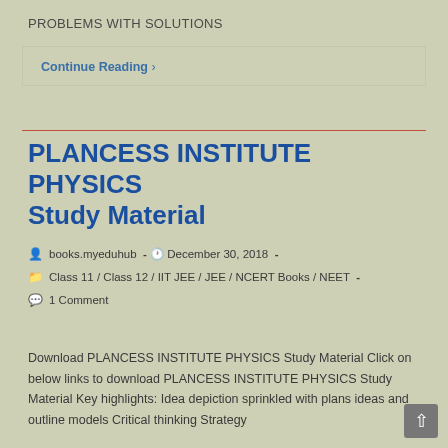PROBLEMS WITH SOLUTIONS
Continue Reading ›
PLANCESS INSTITUTE PHYSICS Study Material
books.myeduhub - December 30, 2018 - Class 11 / Class 12 / IIT JEE / JEE / NCERT Books / NEET - 1 Comment
Download PLANCESS INSTITUTE PHYSICS Study Material Click on below links to download PLANCESS INSTITUTE PHYSICS Study Material Key highlights: Idea depiction sprinkled with plans ideas and outline models Critical thinking Strategy